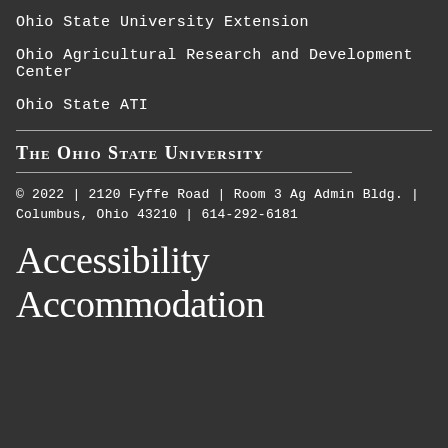Ohio State University Extension
Ohio Agricultural Research and Development Center
Ohio State ATI
[Figure (logo): The Ohio State University logo text in small caps with underline]
© 2022 | 2120 Fyffe Road | Room 3 Ag Admin Bldg. | Columbus, Ohio 43210 | 614-292-6181
Accessibility Accommodation